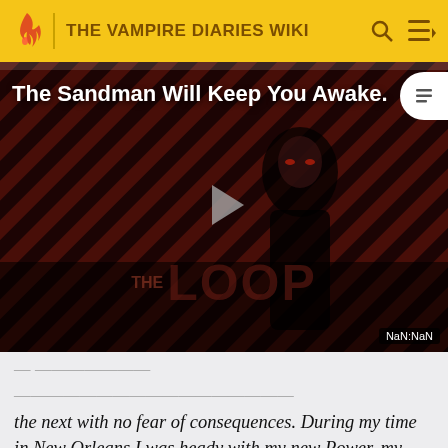THE VAMPIRE DIARIES WIKI
[Figure (screenshot): Video thumbnail for 'The Sandman Will Keep You Awake' featuring a dark figure against a red diagonal-striped background with THE LOOP branding. A play button triangle is visible in the center. A NaN:NaN time badge appears in the bottom right.]
the next with no fear of consequences. During my time in New Orleans I was heady with my new Power, my limitless strength and speed. I tore through humans as if their lives were meaningless. Every warm drop of blood made me feel alive, strong, fearless and powerful.